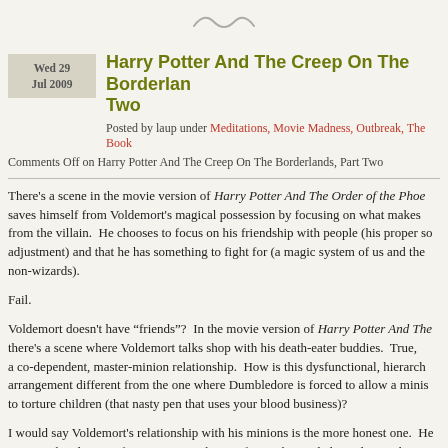[Figure (illustration): Decorative swirl/tilde ornament at top center of page]
Wed 29 Jul 2009
Harry Potter And The Creep On The Borderlands, Part Two
Posted by laup under Meditations, Movie Madness, Outbreak, The Book
Comments Off on Harry Potter And The Creep On The Borderlands, Part Two
There's a scene in the movie version of Harry Potter And The Order of the Phoenix saves himself from Voldemort's magical possession by focusing on what makes from the villain. He chooses to focus on his friendship with people (his proper so adjustment) and that he has something to fight for (a magic system of us and the non-wizards).
Fail.
Voldemort doesn't have “friends”? In the movie version of Harry Potter And The there's a scene where Voldemort talks shop with his death-eater buddies. True, a co-dependent, master-minion relationship. How is this dysfunctional, hierarch arrangement different from the one where Dumbledore is forced to allow a minis to torture children (that nasty pen that uses your blood business)?
I would say Voldemort's relationship with his minions is the more honest one. He minion's hand, even after castigating the guy for not being dedicated enough! S scene where Harry's broken bone is fixed improperly (and played for laughs). I m